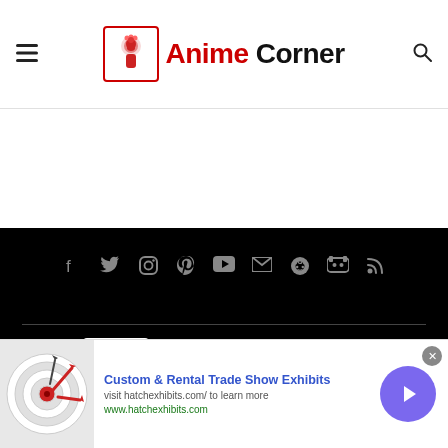[Figure (logo): Anime Corner website header with hamburger menu on left, Anime Corner logo in center (red bordered box with anime figure icon, 'Anime' in red and 'Corner' in black bold text), and search icon on right]
[Figure (infographic): Dark footer section with social media icons row (Facebook, Twitter, Instagram, Pinterest, YouTube, Email, Reddit, Discord, RSS) in grey on black background, followed by a horizontal divider, then white Anime Corner logo (bordered box with anime figure, 'Anime Corner' in white text), and copyright text '© 2022 Anime Corner. All Rights Reserved.' in grey]
[Figure (other): Advertisement banner at bottom: dart board image on left, 'Custom & Rental Trade Show Exhibits' in blue bold text, 'visit hatchexhibits.com/ to learn more' in grey, 'www.hatchexhibits.com' in green, close X button top right, purple circle with right arrow on far right]